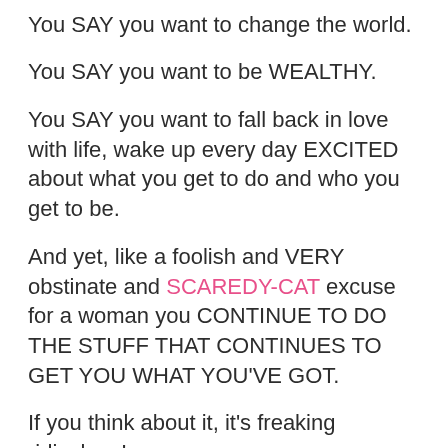You SAY you want to make a difference.
You SAY you want to change the world.
You SAY you want to be WEALTHY.
You SAY you want to fall back in love with life, wake up every day EXCITED about what you get to do and who you get to be.
And yet, like a foolish and VERY obstinate and SCAREDY-CAT excuse for a woman you CONTINUE TO DO THE STUFF THAT CONTINUES TO GET YOU WHAT YOU'VE GOT.
If you think about it, it's freaking ridiculous!
But ridiculous is not enough.